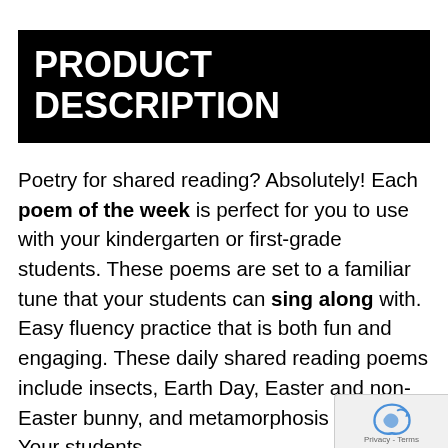PRODUCT DESCRIPTION
Poetry for shared reading? Absolutely! Each poem of the week is perfect for you to use with your kindergarten or first-grade students. These poems are set to a familiar tune that your students can sing along with. Easy fluency practice that is both fun and engaging. These daily shared reading poems include insects, Earth Day, Easter and non-Easter bunny, and metamorphosis themed. Your students